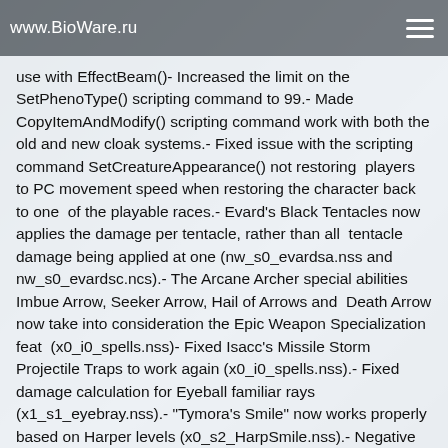www.BioWare.ru
use with EffectBeam()- Increased the limit on the SetPhenoType() scripting command to 99.- Made CopyItemAndModify() scripting command work with both the old and new cloak systems.- Fixed issue with the scripting command SetCreatureAppearance() not restoring  players to PC movement speed when restoring the character back to one  of the playable races.- Evard's Black Tentacles now applies the damage per tentacle, rather than all  tentacle damage being applied at one (nw_s0_evardsa.nss and nw_s0_evardsc.ncs).- The Arcane Archer special abilities Imbue Arrow, Seeker Arrow, Hail of Arrows and  Death Arrow now take into consideration the Epic Weapon Specialization feat  (x0_i0_spells.nss)- Fixed Isacc's Missile Storm Projectile Traps to work again (x0_i0_spells.nss).- Fixed damage calculation for Eyeball familiar rays (x1_s1_eyebray.nss).- "Tymora's Smile" now works properly based on Harper levels (x0_s2_HarpSmile.nss).- Negative Energy Burst